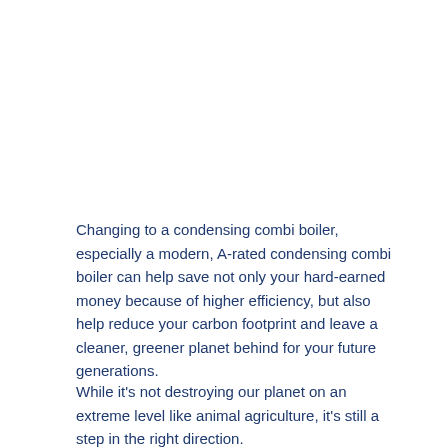Changing to a condensing combi boiler, especially a modern, A-rated condensing combi boiler can help save not only your hard-earned money because of higher efficiency, but also help reduce your carbon footprint and leave a cleaner, greener planet behind for your future generations.
While it's not destroying our planet on an extreme level like animal agriculture, it's still a step in the right direction.